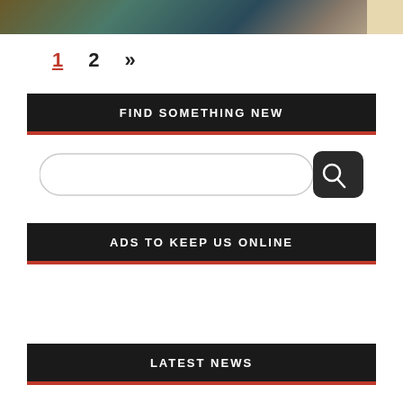[Figure (screenshot): Banner image showing a game-themed illustration with a character in armor and blue cloak on a map background]
1  2  »
FIND SOMETHING NEW
[Figure (screenshot): Search bar with text input field and search button]
ADS TO KEEP US ONLINE
LATEST NEWS